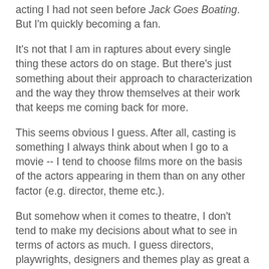acting I had not seen before Jack Goes Boating. But I'm quickly becoming a fan.
It's not that I am in raptures about every single thing these actors do on stage. But there's just something about their approach to characterization and the way they throw themselves at their work that keeps me coming back for more.
This seems obvious I guess. After all, casting is something I always think about when I go to a movie -- I tend to choose films more on the basis of the actors appearing in them than on any other factor (e.g. director, theme etc.).
But somehow when it comes to theatre, I don't tend to make my decisions about what to see in terms of actors as much. I guess directors, playwrights, designers and themes play as great a role in determining my attenance of a live theatre event as the people performing in the show do. Also, when I've been to see productions on the basis of actors -- usually A-list starry types, the most recent example being Janet McTeer in Mary Stuart on Broadway (a dull effort) -- I tend to